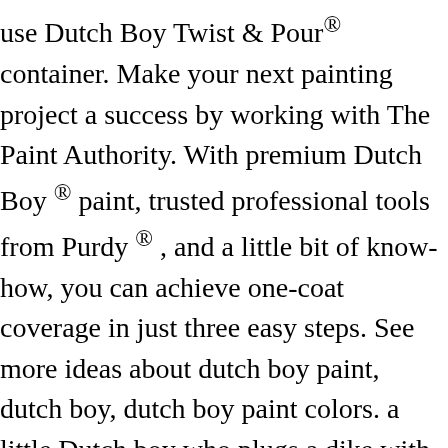use Dutch Boy Twist & Pour® container. Make your next painting project a success by working with The Paint Authority. With premium Dutch Boy ® paint, trusted professional tools from Purdy ® , and a little bit of know-how, you can achieve one-coat coverage in just three easy steps. See more ideas about dutch boy paint, dutch boy, dutch boy paint colors. a little Dutch boy who plugs a dike with his finger, featuring in a novel Hans Brinker, or The Silver Skates by Mary Mapes Dodge "Dutch Boy", the weather satellite system